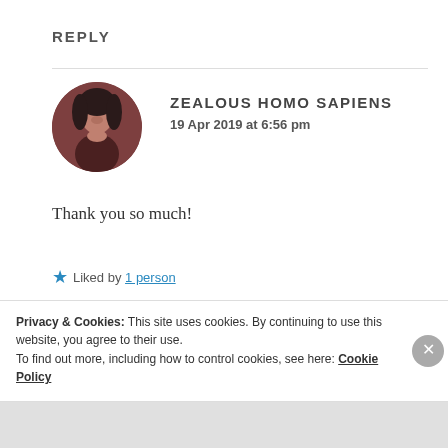REPLY
ZEALOUS HOMO SAPIENS
19 Apr 2019 at 6:56 pm
Thank you so much!
★ Liked by 1 person
REPLY
Privacy & Cookies: This site uses cookies. By continuing to use this website, you agree to their use.
To find out more, including how to control cookies, see here: Cookie Policy
Close and accept